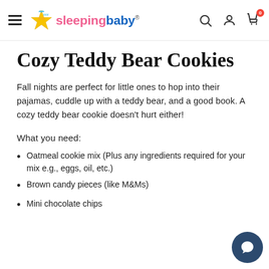sleepingbaby® [navigation: hamburger, search, account, cart]
Cozy Teddy Bear Cookies
Fall nights are perfect for little ones to hop into their pajamas, cuddle up with a teddy bear, and a good book. A cozy teddy bear cookie doesn't hurt either!
What you need:
Oatmeal cookie mix (Plus any ingredients required for your mix e.g., eggs, oil, etc.)
Brown candy pieces (like M&Ms)
Mini chocolate chips